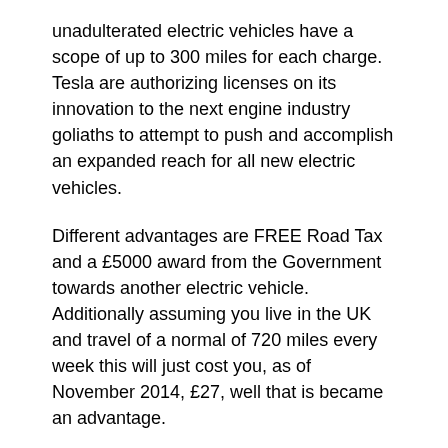unadulterated electric vehicles have a scope of up to 300 miles for each charge. Tesla are authorizing licenses on its innovation to the next engine industry goliaths to attempt to push and accomplish an expanded reach for all new electric vehicles.
Different advantages are FREE Road Tax and a £5000 award from the Government towards another electric vehicle. Additionally assuming you live in the UK and travel of a normal of 720 miles every week this will just cost you, as of November 2014, £27, well that is became an advantage.
Module Electric (Hybrid) Cars
During the 21st century the greatest interest smart ev charger is in the module electric vehicle as these vehicles have a superior reach and are more down to